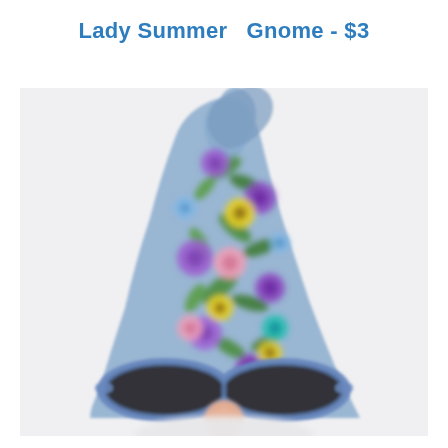Lady Summer  Gnome - $3
[Figure (illustration): A cute gnome illustration with a tall blue pointy hat decorated with colorful flowers (purple, yellow, pink, green, teal), wearing blue-framed sunglasses with dark lenses, and a small pink/peach nose visible below the glasses. The gnome has a white fluffy beard. The hat has a curled tip at the top left.]